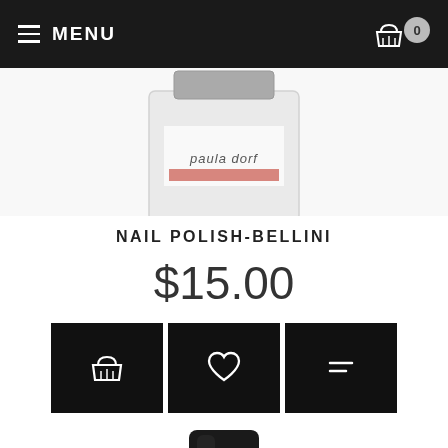MENU  0
[Figure (photo): Top portion of a Paula Dorf nail polish bottle in a clear/transparent square bottle with label visible, cropped at top of page]
NAIL POLISH-BELLINI
$15.00
[Figure (infographic): Three black square buttons: shopping basket icon, heart/wishlist icon, and a list/compare icon]
[Figure (photo): Bottom portion of a dark nail polish bottle with black cap, cropped at bottom of page]